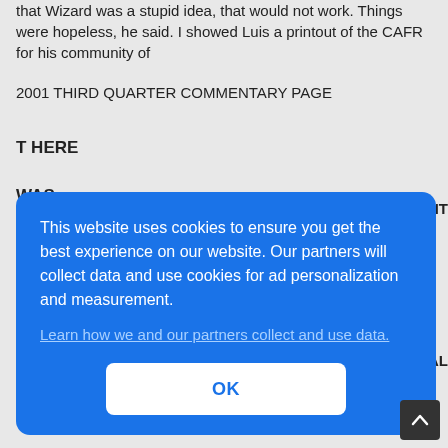that Wizard was a stupid idea, that would not work. Things were hopeless, he said. I showed Luis a printout of the CAFR for his community of
2001 THIRD QUARTER COMMENTARY PAGE
T HERE
WAS
MENT
AL
[Figure (screenshot): Cookie consent overlay popup with blue background. Text reads: 'This website uses cookies to ensure you get the best experience on our website. Our partners will collect data and use cookies for ad personalization and measurement.' with a link 'Learn how we and our partners collect and use data.' and an OK button.]